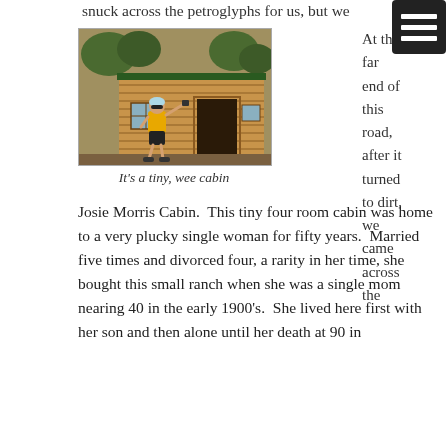snuck across the petroglyphs for us, but we didn't get that
[Figure (photo): A cyclist in a yellow jersey and black shorts stands in front of a small log cabin, pointing at the entrance. The cabin has a wooden door and small windows. Trees are visible in the background.]
It's a tiny, wee cabin
At the far end of this road, after it turned to dirt, we came across the Josie Morris Cabin.  This tiny four room cabin was home to a very plucky single woman for fifty years.  Married five times and divorced four, a rarity in her time, she bought this small ranch when she was a single mom nearing 40 in the early 1900's.  She lived here first with her son and then alone until her death at 90 in